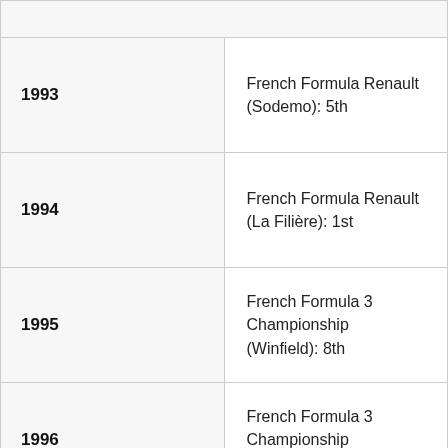| Year | Championship |
| --- | --- |
| 1993 | French Formula Renault (Sodemo): 5th |
| 1994 | French Formula Renault (La Filière): 1st |
| 1995 | French Formula 3 Championship (Winfield): 8th |
| 1996 | French Formula 3 Championship (Winfield): 9th |
| 1997 | French Formula 3 Championship (LD Autosport): 2nd |